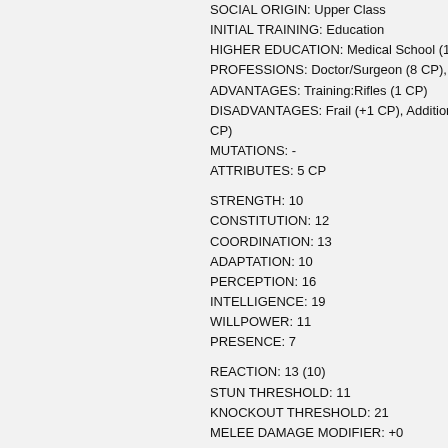SOCIAL ORIGIN: Upper Class
INITIAL TRAINING: Education
HIGHER EDUCATION: Medical School (1 C…
PROFESSIONS: Doctor/Surgeon (8 CP), S…
ADVANTAGES: Training:Rifles (1 CP)
DISADVANTAGES: Frail (+1 CP), Additiona… CP)
MUTATIONS: -
ATTRIBUTES: 5 CP
STRENGTH: 10
CONSTITUTION: 12
COORDINATION: 13
ADAPTATION: 10
PERCEPTION: 16
INTELLIGENCE: 19
WILLPOWER: 11
PRESENCE: 7
REACTION: 13 (10)
STUN THRESHOLD: 11
KNOCKOUT THRESHOLD: 21
MELEE DAMAGE MODIFIER: +0
DAMAGE RESISTANCE: -1
NATURAL RESISTANCES: -1 (+0 on Drugs…
SUSPEND BREATHING: 11 Combat Rou…